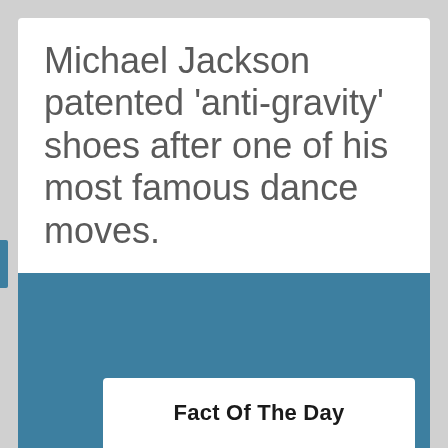Michael Jackson patented 'anti-gravity' shoes after one of his most famous dance moves.
quoteistan at 25 December Labels: fact-of-the-day
[Figure (other): Fact Of The Day banner with steel blue background and white label box at bottom showing bold text 'Fact Of The Day']